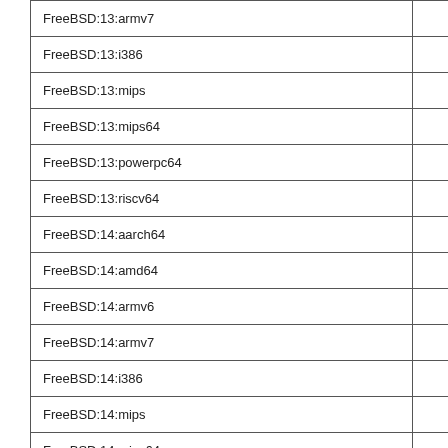|  |  |  |
| --- | --- | --- |
| FreeBSD:13:armv7 | - | - |
| FreeBSD:13:i386 | 0.6.0_2 | 0.6.0_2 |
| FreeBSD:13:mips | - | - |
| FreeBSD:13:mips64 | - | - |
| FreeBSD:13:powerpc64 | 0.4.0 | 0.5.0 |
| FreeBSD:13:riscv64 | - | - |
| FreeBSD:14:aarch64 | - | - |
| FreeBSD:14:amd64 | 0.6.0_2 | - |
| FreeBSD:14:armv6 | - | - |
| FreeBSD:14:armv7 | - | - |
| FreeBSD:14:i386 | 0.6.0_2 | - |
| FreeBSD:14:mips | - | - |
| FreeBSD:14:mips64 | - | - |
| FreeBSD:14:powerpc64 | 0.5.0 | - |
new 48 hours
new 7 days
new fortnight
new month